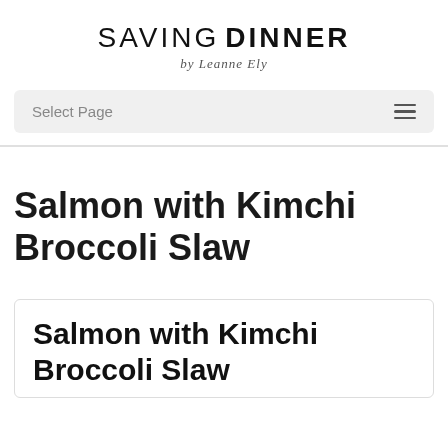SAVING DINNER by Leanne Ely
Select Page
Salmon with Kimchi Broccoli Slaw
Salmon with Kimchi Broccoli Slaw